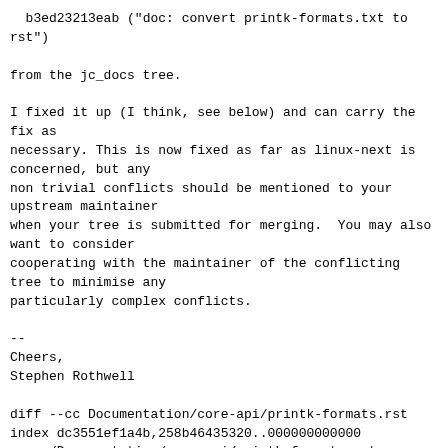b3ed23213eab ("doc: convert printk-formats.txt to rst")

from the jc_docs tree.

I fixed it up (I think, see below) and can carry the fix as
necessary. This is now fixed as far as linux-next is concerned, but any
non trivial conflicts should be mentioned to your upstream maintainer
when your tree is submitted for merging.  You may also want to consider
cooperating with the maintainer of the conflicting tree to minimise any
particularly complex conflicts.

--
Cheers,
Stephen Rothwell

diff --cc Documentation/core-api/printk-formats.rst
index dc3551ef1a4b,258b46435320..000000000000
--- a/Documentation/core-api/printk-formats.rst
+++ b/Documentation/core-api/printk-formats.rst
@@@ -61,33 -68,44 +68,33 @@@ Symbols/Function Pointer

  ::